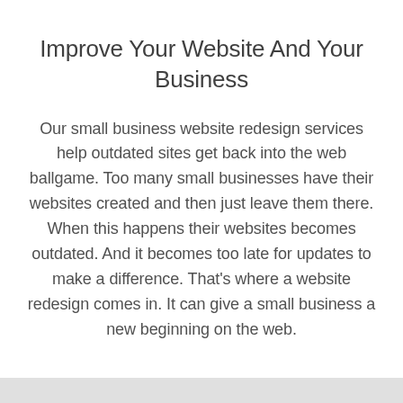Improve Your Website And Your Business
Our small business website redesign services help outdated sites get back into the web ballgame. Too many small businesses have their websites created and then just leave them there. When this happens their websites becomes outdated. And it becomes too late for updates to make a difference. That's where a website redesign comes in. It can give a small business a new beginning on the web.